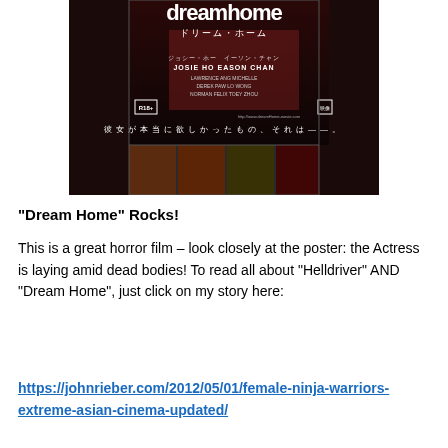[Figure (photo): Movie poster for 'Dream Home' (ドリーム・ホーム) showing dark horror imagery with cast names including JOSIE HO and EASON CHAN, Japanese text tagline, R18+ rating, and strip of horror scene thumbnails at bottom.]
“Dream Home” Rocks!
This is a great horror film – look closely at the poster: the Actress is laying amid dead bodies! To read all about “Helldriver” AND “Dream Home”, just click on my story here:
https://johnrieber.com/2012/05/01/female-ninja-warriors-extreme-asian-cinema-updated/